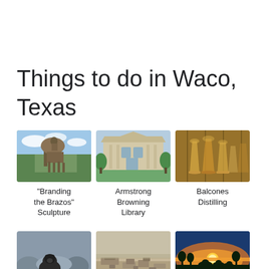Things to do in Waco, Texas
[Figure (photo): Branding the Brazos sculpture - bronze cowboy statue outdoors]
"Branding the Brazos" Sculpture
[Figure (photo): Armstrong Browning Library - classical stone building with lawn]
Armstrong Browning Library
[Figure (photo): Balcones Distilling - whiskey glasses closeup]
Balcones Distilling
[Figure (photo): Baylor Bear Habitat - black bear in water]
Baylor Bear Habitat
[Figure (photo): Branch Davidian - archaeological ruins]
Branch Davidian
[Figure (photo): Brazos Bluffs - horses at sunset panoramic view]
Brazos Bluffs